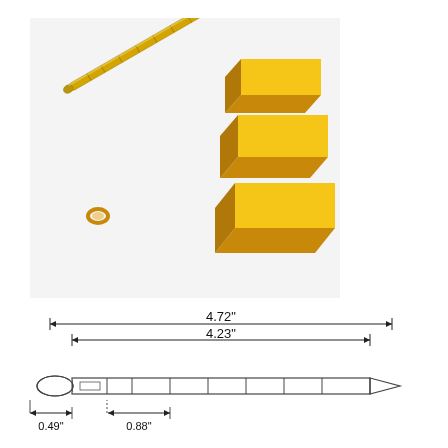[Figure (photo): Product photo showing a gold-plated telescoping pen or stylus alongside three stacked gold bars and a small gold-colored ring/ferrule on a white background.]
[Figure (engineering-diagram): Technical dimension drawing of a pen/stylus showing overall length 4.72 inches, inner body length 4.23 inches, left end diameter section 0.49 inches, and a middle segment of 0.88 inches. The pen has a segmented body with a pointed tip on the right and a rounded/looped end on the left.]